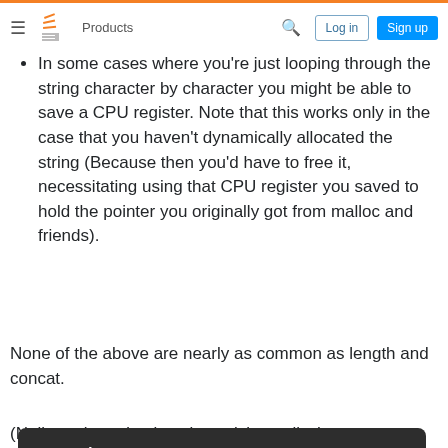Stack Overflow — Products | Log in | Sign up
In some cases where you're just looping through the string character by character you might be able to save a CPU register. Note that this works only in the case that you haven't dynamically allocated the string (Because then you'd have to free it, necessitating using that CPU register you saved to hold the pointer you originally got from malloc and friends).
None of the above are nearly as common as length and concat.
Your privacy
By clicking "Accept all cookies", you agree Stack Exchange can store cookies on your device and disclose information in accordance with our Cookie Policy.
Accept all cookies | Customize settings
(Null terminated strings just stick a null where you